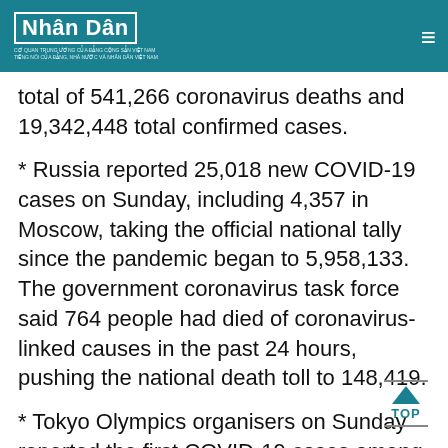Nhân Dân
total of 541,266 coronavirus deaths and 19,342,448 total confirmed cases.
* Russia reported 25,018 new COVID-19 cases on Sunday, including 4,357 in Moscow, taking the official national tally since the pandemic began to 5,958,133. The government coronavirus task force said 764 people had died of coronavirus-linked causes in the past 24 hours, pushing the national death toll to 148,419.
* Tokyo Olympics organisers on Sunday reported the first COVID-19 cases among competitors residing in the athletes' village, as its population swells ahead of the start of the